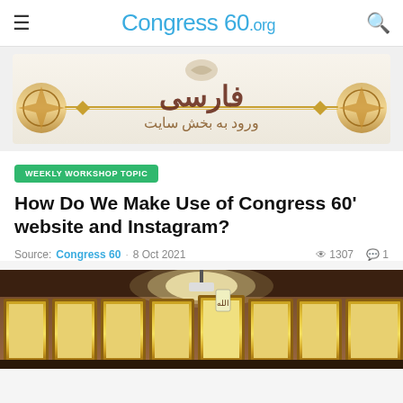Congress 60.org
[Figure (illustration): Persian / Farsi section banner with decorative Islamic ornamental design and Arabic script text reading 'ورود به بخش فارسی سایت']
WEEKLY WORKSHOP TOPIC
How Do We Make Use of Congress 60' website and Instagram?
Source: Congress 60 · 8 Oct 2021  👁 1307  💬 1
[Figure (photo): Interior photo showing decorative framed Islamic calligraphy panels with golden/yellow ornate frames mounted on a dark wall, with a bright ceiling light visible above.]